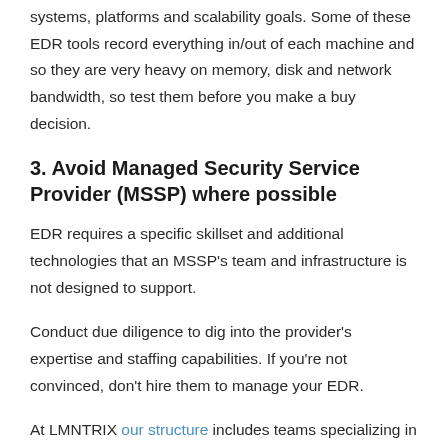systems, platforms and scalability goals. Some of these EDR tools record everything in/out of each machine and so they are very heavy on memory, disk and network bandwidth, so test them before you make a buy decision.
3. Avoid Managed Security Service Provider (MSSP) where possible
EDR requires a specific skillset and additional technologies that an MSSP's team and infrastructure is not designed to support.
Conduct due diligence to dig into the provider's expertise and staffing capabilities. If you're not convinced, don't hire them to manage your EDR.
At LMNTRIX our structure includes teams specializing in Threat Detection, Threat Response, Threat Hunting and